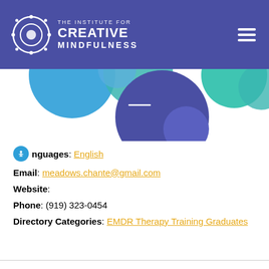The Institute for Creative Mindfulness
[Figure (illustration): Decorative colorful circles banner — blue, teal, and purple overlapping circles against a white/purple background]
Languages: English
Email: meadows.chante@gmail.com
Website:
Phone: (919) 323-0454
Directory Categories: EMDR Therapy Training Graduates